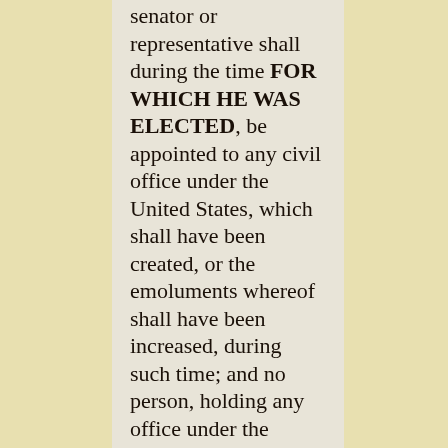senator or representative shall during the time FOR WHICH HE WAS ELECTED, be appointed to any civil office under the United States, which shall have been created, or the emoluments whereof shall have been increased, during such time; and no person, holding any office under the United States, shall be a member of either house during his continuance in office."
PUBLIUS.